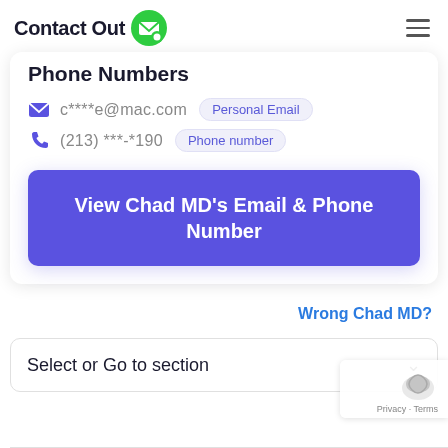ContactOut
Phone Numbers
c****e@mac.com   Personal Email
(213) ***-*190   Phone number
View Chad MD's Email & Phone Number
Wrong Chad MD?
Select or Go to section